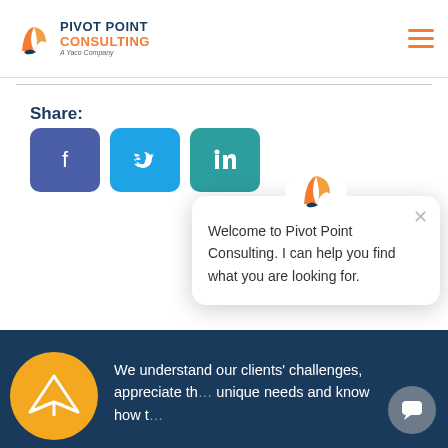[Figure (logo): Pivot Point Consulting logo with orange/dark blue icon and text, 'A Yaco Company' subtitle]
[Figure (other): Hamburger menu icon (three orange horizontal lines)]
Share:
[Figure (other): Social share buttons: Facebook (purple), Twitter (blue), LinkedIn (teal)]
[Figure (other): Chat popup widget with Pivot Point logo icon, close X button, and text: Welcome to Pivot Point Consulting. I can help you find what you are looking for.]
We understand our clients' challenges, appreciate their unique needs and know how to
[Figure (other): Yellow circle with white paper plane icon on dark blue footer band]
[Figure (other): Chat FAB button (grey circle with chat icon)]